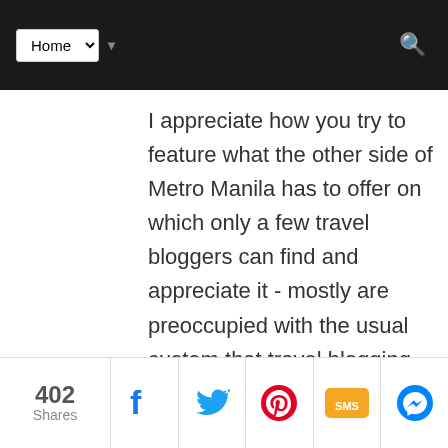Home [navigation dropdown]
I appreciate how you try to feature what the other side of Metro Manila has to offer on which only a few travel bloggers can find and appreciate it - mostly are preoccupied with the usual custom that travel blogging means going to far-flung areas, or vacation at the highlands and into islands. A few are aware that subjects are everywhere and it is just at the doorstep of our house. Just my
402 Shares | Facebook | Twitter | Pinterest | SMS | Messenger